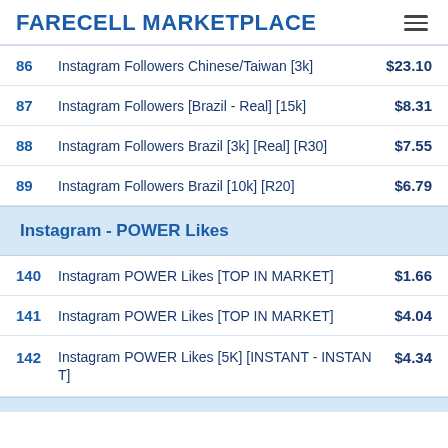FARECELL MARKETPLACE
| # | Description | Price |
| --- | --- | --- |
| 86 | Instagram Followers Chinese/Taiwan [3k] | $23.10 |
| 87 | Instagram Followers [Brazil - Real] [15k] | $8.31 |
| 88 | Instagram Followers Brazil [3k] [Real] [R30] | $7.55 |
| 89 | Instagram Followers Brazil [10k] [R20] | $6.79 |
Instagram - POWER Likes
| # | Description | Price |
| --- | --- | --- |
| 140 | Instagram POWER Likes [TOP IN MARKET] | $1.66 |
| 141 | Instagram POWER Likes [TOP IN MARKET] | $4.04 |
| 142 | Instagram POWER Likes [5K] [INSTANT - INSTANT] | $4.34 |